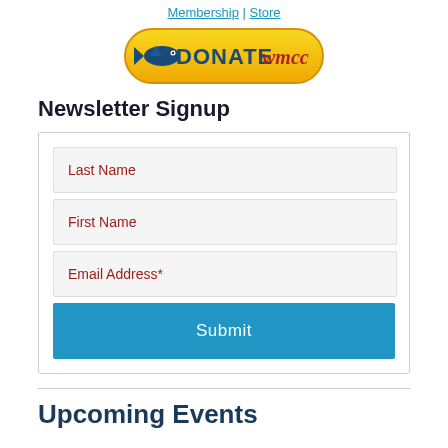Membership | Store
[Figure (logo): DONATE WMCC button with fish icon on yellow rounded background]
Newsletter Signup
Last Name
First Name
Email Address*
Submit
Upcoming Events